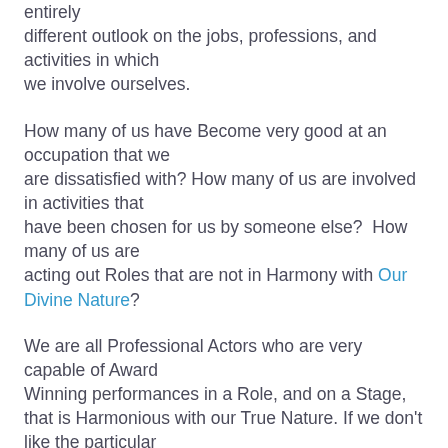entirely different outlook on the jobs, professions, and activities in which we involve ourselves.
How many of us have Become very good at an occupation that we are dissatisfied with? How many of us are involved in activities that have been chosen for us by someone else?  How many of us are acting out Roles that are not in Harmony with Our Divine Nature?
We are all Professional Actors who are very capable of Award Winning performances in a Role, and on a Stage, that is Harmonious with our True Nature. If we don't like the particular Role we are currently involved in we can simply Choose to move to another Play on another Stage and assume a Role which